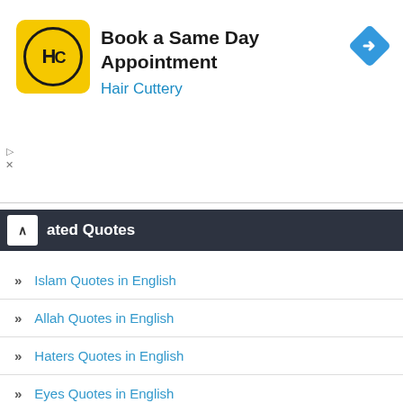[Figure (screenshot): Advertisement banner for Hair Cuttery with logo, 'Book a Same Day Appointment' headline, and navigation arrow icon]
ated Quotes
Islam Quotes in English
Allah Quotes in English
Haters Quotes in English
Eyes Quotes in English
Black Quotes in English
Book Quotes in English
Losing Quotes in English
Value Quotes in English